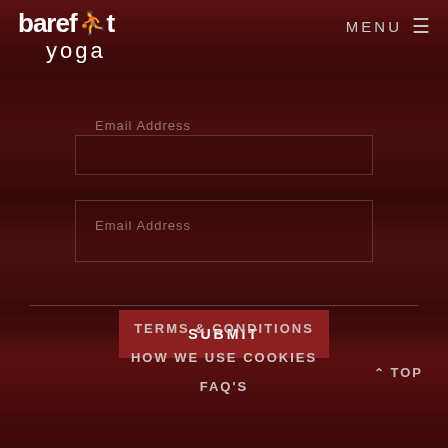barefoot yoga — MENU
Email Address
Email Address
SUBMIT
TERMS & CONDITIONS
HOW WE USE COOKIES
FAQ'S
^ TOP